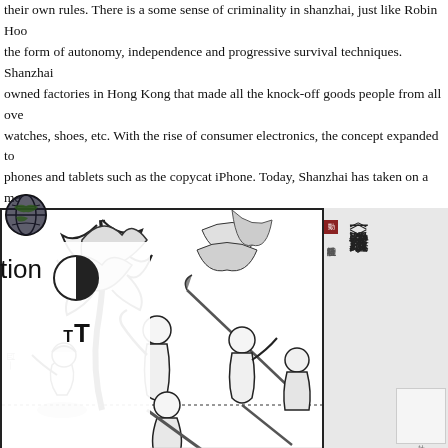their own rules. There is a some sense of criminality in shanzhai, just like Robin Hood the form of autonomy, independence and progressive survival techniques. Shanzhai owned factories in Hong Kong that made all the knock-off goods people from all over watches, shoes, etc. With the rise of consumer electronics, the concept expanded to phones and tablets such as the copycat iPhone. Today, Shanzhai has taken on a me have found it to be a Chinese grassroots innovation and creativity (Jefferey 2011). S about stealing and copying and that it is really the opposite of innovation. But if you l the kind of public domain/open source production at WPI, you see a progressive and model applied to manufacturing.
[Figure (illustration): Black and white illustration of Chinese warriors/outlaws fighting with weapons (spears, swords), set in a forest. Characters appear to be from the classic Chinese novel Water Margin (水浒传). A globe icon and UI controls (contrast, font size) overlay the left portion of the image.]
[Figure (illustration): Right panel showing Chinese text reading 跟名家一起读《水浒传》 (Read Water Margin with famous scholars) on a gray background, with a small red seal mark and vertical Chinese text.]